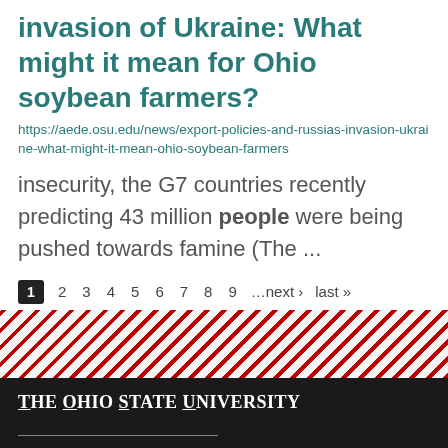invasion of Ukraine: What might it mean for Ohio soybean farmers?
https://aede.osu.edu/news/export-policies-and-russias-invasion-ukraine-what-might-it-mean-ohio-soybean-farmers
insecurity, the G7 countries recently predicting 43 million people were being pushed towards famine (The ...
1 2 3 4 5 6 7 8 9 …next › last »
[Figure (illustration): Diagonal red and white stripe decorative banner]
The Ohio State University